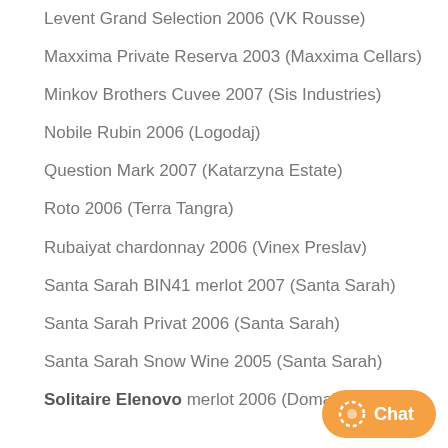Levent Grand Selection 2006 (VK Rousse)
Maxxima Private Reserva 2003 (Maxxima Cellars)
Minkov Brothers Cuvee 2007 (Sis Industries)
Nobile Rubin 2006 (Logodaj)
Question Mark 2007 (Katarzyna Estate)
Roto 2006 (Terra Tangra)
Rubaiyat chardonnay 2006 (Vinex Preslav)
Santa Sarah BIN41 merlot 2007 (Santa Sarah)
Santa Sarah Privat 2006 (Santa Sarah)
Santa Sarah Snow Wine 2005 (Santa Sarah)
Solitaire Elenovo merlot 2006 (Domaine